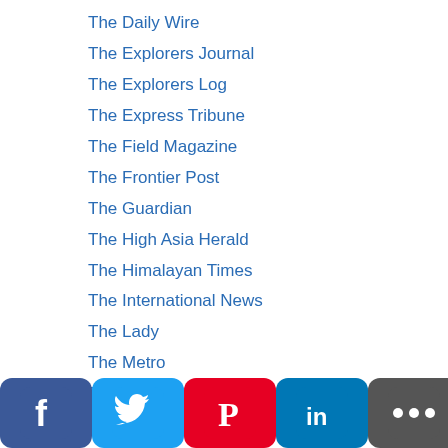The Daily Wire
The Explorers Journal
The Explorers Log
The Express Tribune
The Field Magazine
The Frontier Post
The Guardian
The High Asia Herald
The Himalayan Times
The International News
The Lady
The Metro
The Nation
The New York Times
The Outdoor Journal
The Paradise
The Philadelphia Inquirer
The Pennsylvania Gazette